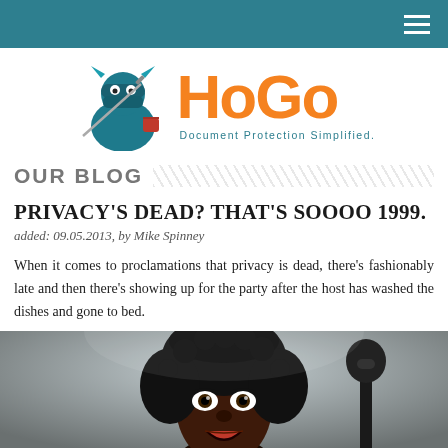HoGo - Document Protection Simplified.
[Figure (logo): HoGo logo with ninja mascot character in teal and orange, with tagline 'Document Protection Simplified.']
OUR BLOG
PRIVACY'S DEAD? THAT'S SOOOO 1999.
added: 09.05.2013, by Mike Spinney
When it comes to proclamations that privacy is dead, there's fashionably late and then there's showing up for the party after the host has washed the dishes and gone to bed.
[Figure (photo): Photo of a performer (resembling Prince) with curly hair, wide eyes, and an open mouth, in front of a microphone on stage.]